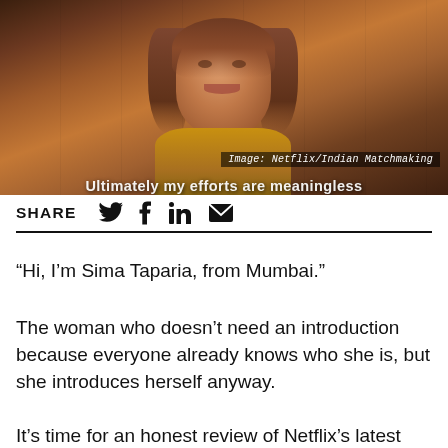[Figure (photo): A woman with shoulder-length hair wearing a yellow/gold outfit; overlay text reads 'Image: Netflix/Indian Matchmaking'; bottom text reads 'Ultimately my efforts are meaningless']
SHARE [Twitter icon] [Facebook icon] [LinkedIn icon] [Email icon]
“Hi, I’m Sima Taparia, from Mumbai.”
The woman who doesn’t need an introduction because everyone already knows who she is, but she introduces herself anyway.
It’s time for an honest review of Netflix’s latest